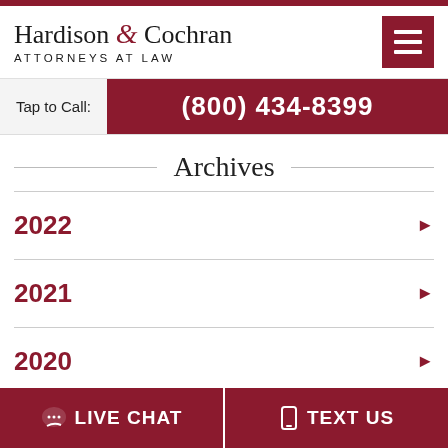Hardison & Cochran Attorneys at Law
Tap to Call: (800) 434-8399
Archives
2022
2021
2020
LIVE CHAT  TEXT US